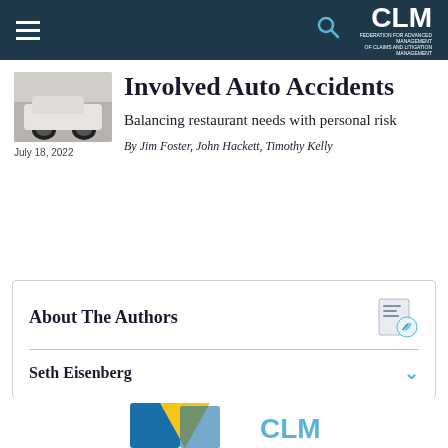CLM
[Figure (photo): Thumbnail photo of a car, partially visible, light colored vehicle]
July 18, 2022
Involved Auto Accidents
Balancing restaurant needs with personal risk
By Jim Foster, John Hackett, Timothy Kelly
About The Authors
Seth Eisenberg
[Figure (photo): Bottom partial banner with CLM logo and colored shapes in blue and yellow]